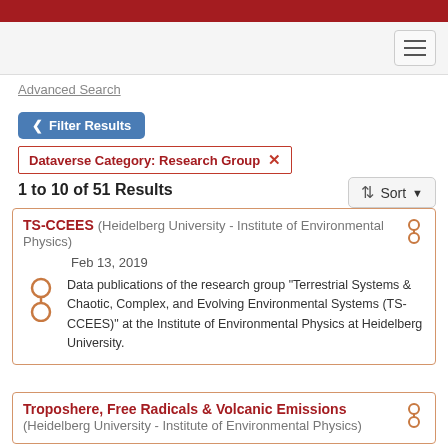Advanced Search
Filter Results
Dataverse Category: Research Group ✕
1 to 10 of 51 Results
TS-CCEES (Heidelberg University - Institute of Environmental Physics) Feb 13, 2019 Data publications of the research group "Terrestrial Systems & Chaotic, Complex, and Evolving Environmental Systems (TS-CCEES)" at the Institute of Environmental Physics at Heidelberg University.
Troposhere, Free Radicals & Volcanic Emissions (Heidelberg University - Institute of Environmental Physics)